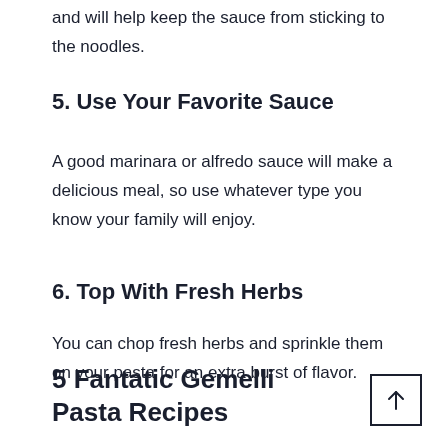and will help keep the sauce from sticking to the noodles.
5. Use Your Favorite Sauce
A good marinara or alfredo sauce will make a delicious meal, so use whatever type you know your family will enjoy.
6. Top With Fresh Herbs
You can chop fresh herbs and sprinkle them on your pasta for an extra burst of flavor.
5 Fantatic Gemelli Pasta Recipes